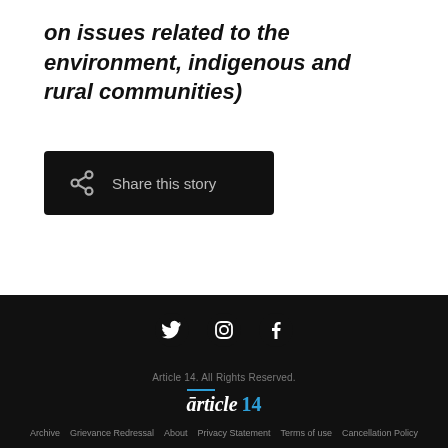on issues related to the environment, indigenous and rural communities)
[Figure (other): Share this story button — dark button with share icon and text 'Share this story']
[Figure (other): Social media icons: Twitter, Instagram, Facebook — white on dark background]
Article 14. All Rights Reserved. | Archive | Grievance Redressal | About | Privacy Statement | Terms of use | Cancellation Policy